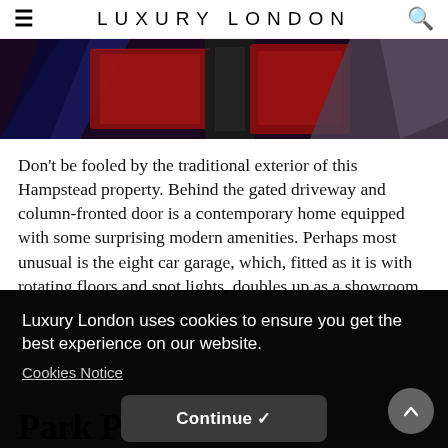LUXURY LONDON
[Figure (photo): Close-up photo of red, black and blue jewellery boxes or velvet boxes arranged together]
Don't be fooled by the traditional exterior of this Hampstead property. Behind the gated driveway and column-fronted door is a contemporary home equipped with some surprising modern amenities. Perhaps most unusual is the eight car garage, which, fitted as it is with rotating floors and spot lights, doubles up as a showroom [...]e same [...] d and [...] ating [...] our list
Luxury London uses cookies to ensure you get the best experience on our website.
Cookies Notice
Continue ✓
Park Place SW1A